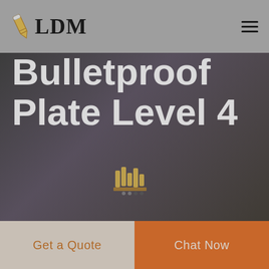LDM
Cheap Bulletproof Plate Level 4
[Figure (screenshot): Dark hero background showing blurred workshop/factory scene with people, used as backdrop for the title text]
Get a Quote
Chat Now